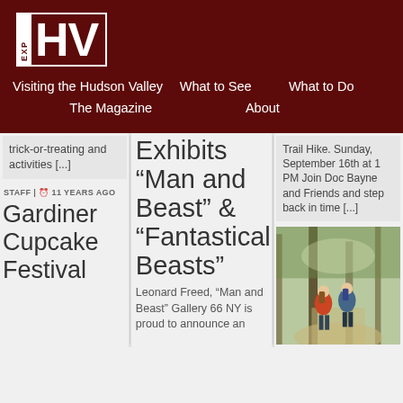[Figure (logo): EXP HV logo — white box with 'EXP' vertical on left, 'HV' large bold white letters on dark red background]
Visiting the Hudson Valley   What to See   What to Do   The Magazine   About
trick-or-treating and activities [...]
Exhibits “Man and Beast” & “Fantastical Beasts”
Trail Hike. Sunday, September 16th at 1 PM Join Doc Bayne and Friends and step back in time [...]
STAFF | ⏰ 11 YEARS AGO
Gardiner Cupcake Festival
Leonard Freed, “Man and Beast” Gallery 66 NY is proud to announce an
[Figure (photo): Two hikers walking on a wooded trail, viewed from behind, sunlit forest path]